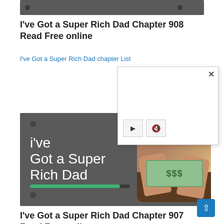[Figure (screenshot): Dark grey banner/ad strip at top of page with two dark circle dots]
I've Got a Super Rich Dad Chapter 908 Read Free online
I've Got a Super Rich Dad chapter List
[Figure (screenshot): White popup overlay with close X button and media player controls (play button and mute button)]
[Figure (illustration): Dark grey banner image showing text 'i've Got a Super Rich Dad' in white with a green progress bar, small circle dots, and a photo of hands counting dollar bills from a wallet on the right side]
I've Got a Super Rich Dad Chapter 907 Read Free online